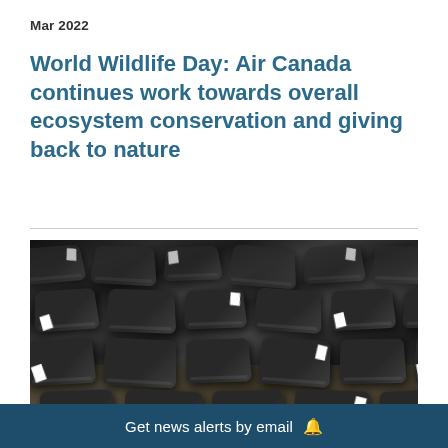Mar 2022
World Wildlife Day: Air Canada continues work towards overall ecosystem conservation and giving back to nature
[Figure (photo): Rows of black toiletry/amenity bags laid out on a wooden surface, each with small white tags attached]
Get news alerts by email 🔔